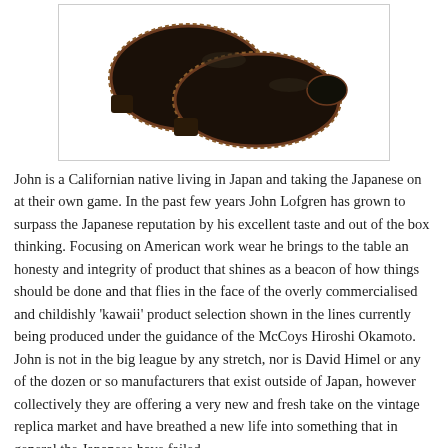[Figure (photo): A pair of dark brown/black leather shoes or boots with visible stitching around the sole, shot from above on a white background inside a box with a light border.]
John is a Californian native living in Japan and taking the Japanese on at their own game. In the past few years John Lofgren has grown to surpass the Japanese reputation by his excellent taste and out of the box thinking. Focusing on American work wear he brings to the table an honesty and integrity of product that shines as a beacon of how things should be done and that flies in the face of the overly commercialised and childishly 'kawaii' product selection shown in the lines currently being produced under the guidance of the McCoys Hiroshi Okamoto. John is not in the big league by any stretch, nor is David Himel or any of the dozen or so manufacturers that exist outside of Japan, however collectively they are offering a very new and fresh take on the vintage replica market and have breathed a new life into something that in general the Japanese have failed